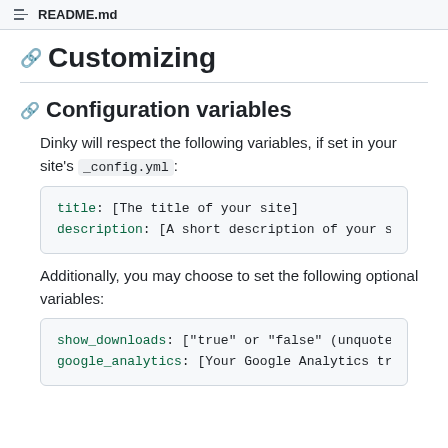README.md
Customizing
Configuration variables
Dinky will respect the following variables, if set in your site's _config.yml:
title: [The title of your site]
description: [A short description of your sit
Additionally, you may choose to set the following optional variables:
show_downloads: ["true" or "false" (unquoted)
google_analytics: [Your Google Analytics trac